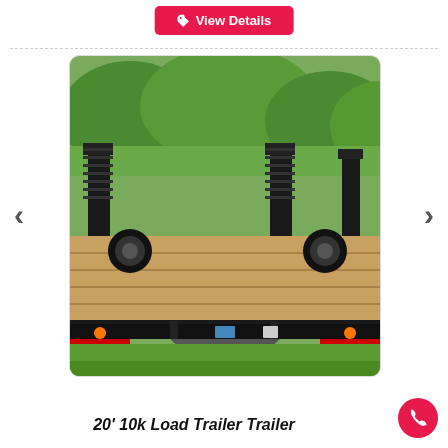[Figure (other): Red 'View Details' button with tag icon at the top center of the page]
[Figure (photo): Photo of a 20-foot 10k load trailer with wooden deck and fold-down ramps, parked on grass with trees in the background. Black metal frame with orange marker lights and a tongue jack visible.]
20' 10k Load Trailer Trailer